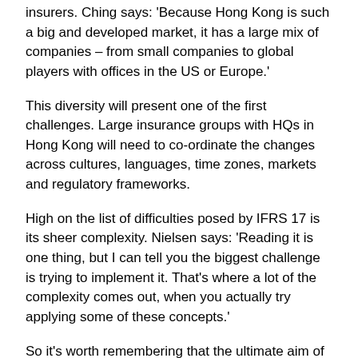insurers. Ching says: 'Because Hong Kong is such a big and developed market, it has a large mix of companies – from small companies to global players with offices in the US or Europe.'
This diversity will present one of the first challenges. Large insurance groups with HQs in Hong Kong will need to co-ordinate the changes across cultures, languages, time zones, markets and regulatory frameworks.
High on the list of difficulties posed by IFRS 17 is its sheer complexity. Nielsen says: 'Reading it is one thing, but I can tell you the biggest challenge is trying to implement it. That's where a lot of the complexity comes out, when you actually try applying some of these concepts.'
So it's worth remembering that the ultimate aim of IFRS 17 is to achieve consistency and comparability around the world. Chris Hancorn, actuarial services partner at PwC, says: 'There's a lot of freedom in the current IFRS, and that freedom creates huge diversity in how insurance companies report and the lack of comparability. The insurance industry